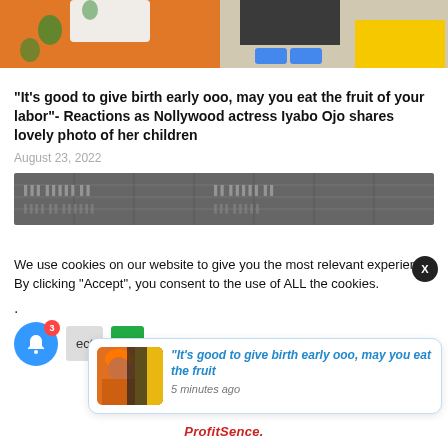[Figure (photo): Top cropped photo showing colorful outfits — orange jacket on left, yellow mini skirt on right, blue sneakers visible]
“It’s good to give birth early ooo, may you eat the fruit of your labor”- Reactions as Nollywood actress Iyabo Ojo shares lovely photo of her children
August 23, 2022
[Figure (photo): Partial second photo showing a dark building exterior]
We use cookies on our website to give you the most relevant experience By clicking “Accept”, you consent to the use of ALL the cookies.
.
[Figure (infographic): Push notification overlay: thumbnail image with orange-haired woman and text '“It’s good to give birth early ooo, may you eat the fruit' with '5 minutes ago']
ProfitSence.